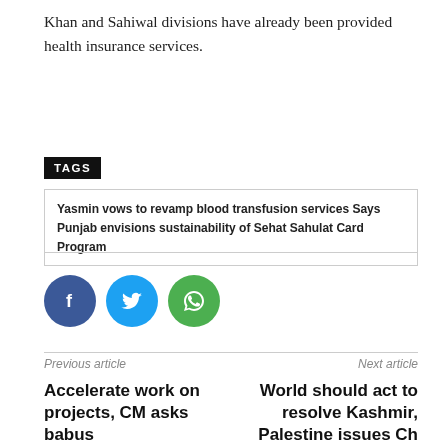Khan and Sahiwal divisions have already been provided health insurance services.
TAGS
Yasmin vows to revamp blood transfusion services Says Punjab envisions sustainability of Sehat Sahulat Card Program
[Figure (infographic): Social share buttons: Facebook (dark blue circle), Twitter (light blue circle), WhatsApp (green circle)]
Previous article
Accelerate work on projects, CM asks babus
Next article
World should act to resolve Kashmir, Palestine issues Ch